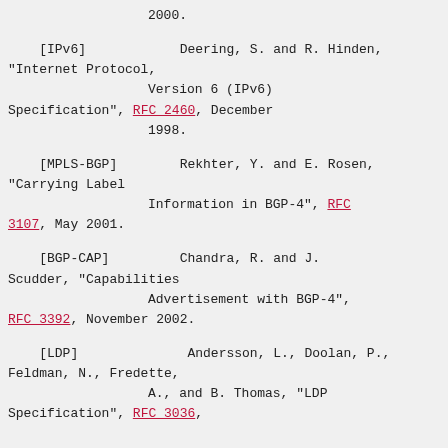2000.
[IPv6]            Deering, S. and R. Hinden, "Internet Protocol, Version 6 (IPv6) Specification", RFC 2460, December 1998.
[MPLS-BGP]        Rekhter, Y. and E. Rosen, "Carrying Label Information in BGP-4", RFC 3107, May 2001.
[BGP-CAP]         Chandra, R. and J. Scudder, "Capabilities Advertisement with BGP-4", RFC 3392, November 2002.
[LDP]             Andersson, L., Doolan, P., Feldman, N., Fredette, A., and B. Thomas, "LDP Specification", RFC 3036,